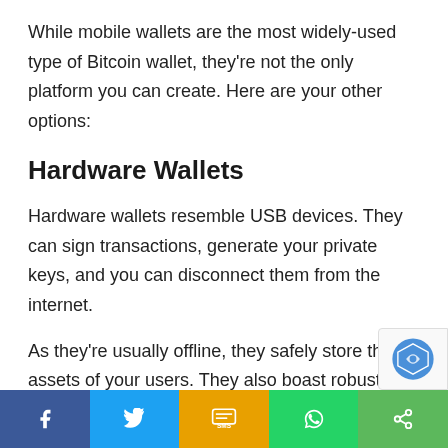While mobile wallets are the most widely-used type of Bitcoin wallet, they're not the only platform you can create. Here are your other options:
Hardware Wallets
Hardware wallets resemble USB devices. They can sign transactions, generate your private keys, and you can disconnect them from the internet.
As they're usually offline, they safely store the assets of your users. They also boast robust security measures that help prevent two-way data transfers. Although the platform can dispatch information,
Facebook | Twitter | SMS | WhatsApp | Share